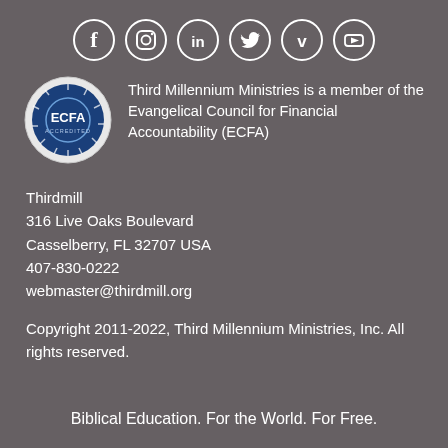[Figure (illustration): Six social media icons in white circles on gray background: Facebook, Instagram, LinkedIn, Twitter, Vimeo, YouTube]
[Figure (logo): ECFA Accredited seal - circular badge with blue center, white 'ECFA' text, and 'ACCREDITED' text around the bottom]
Third Millennium Ministries is a member of the Evangelical Council for Financial Accountability (ECFA)
Thirdmill
316 Live Oaks Boulevard
Casselberry, FL 32707 USA
407-830-0222
webmaster@thirdmill.org
Copyright 2011-2022, Third Millennium Ministries, Inc. All rights reserved.
Biblical Education. For the World. For Free.